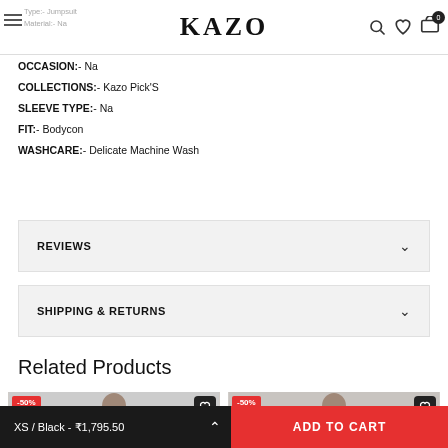KAZO
Type:- Jumpsuit
Material:- Na
OCCASION:- Na
COLLECTIONS:- Kazo Pick'S
SLEEVE TYPE:- Na
FIT:- Bodycon
WASHCARE:- Delicate Machine Wash
REVIEWS
SHIPPING & RETURNS
Related Products
[Figure (photo): Product card 1 with -50% badge and model photo]
[Figure (photo): Product card 2 with -50% badge and model photo]
XS / Black - ₹1,795.50
ADD TO CART